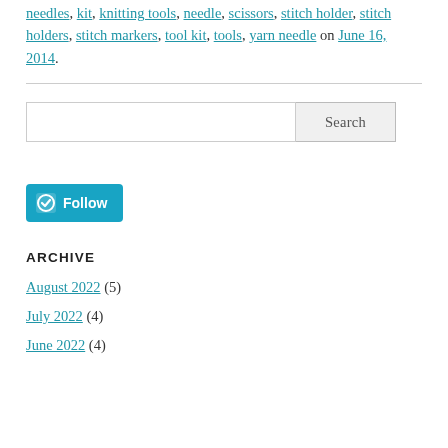needles, kit, knitting tools, needle, scissors, stitch holder, stitch holders, stitch markers, tool kit, tools, yarn needle on June 16, 2014.
Search
[Figure (other): WordPress Follow button with teal background]
ARCHIVE
August 2022 (5)
July 2022 (4)
June 2022 (4)